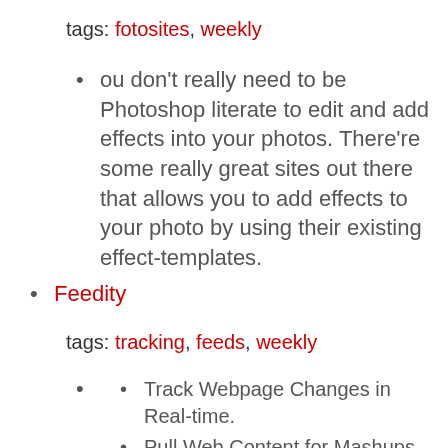tags: fotosites, weekly
ou don't really need to be Photoshop literate to edit and add effects into your photos. There're some really great sites out there that allows you to add effects to your photo by using their existing effect-templates.
Feedity
tags: tracking, feeds, weekly
Track Webpage Changes in Real-time.
Pull Web Content for Mashups.
Feedweaver – Create your own